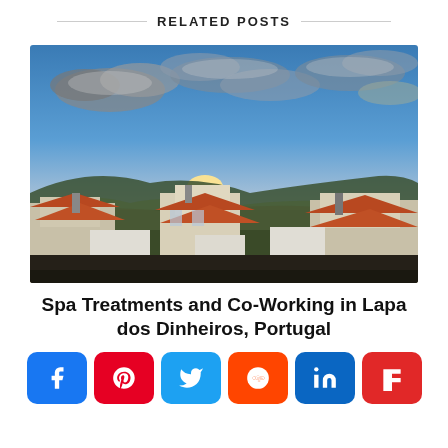RELATED POSTS
[Figure (photo): Aerial sunset view over Portuguese village rooftops with terracotta tiles and white buildings, against a dramatic sky with clouds and golden light on the horizon.]
Spa Treatments and Co-Working in Lapa dos Dinheiros, Portugal